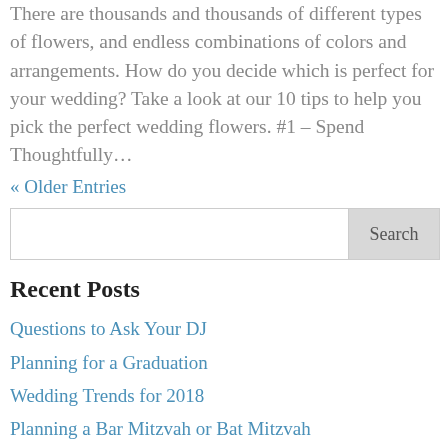There are thousands and thousands of different types of flowers, and endless combinations of colors and arrangements. How do you decide which is perfect for your wedding? Take a look at our 10 tips to help you pick the perfect wedding flowers. #1 – Spend Thoughtfully…
« Older Entries
Search
Recent Posts
Questions to Ask Your DJ
Planning for a Graduation
Wedding Trends for 2018
Planning a Bar Mitzvah or Bat Mitzvah
Rock the Party Opens New Business